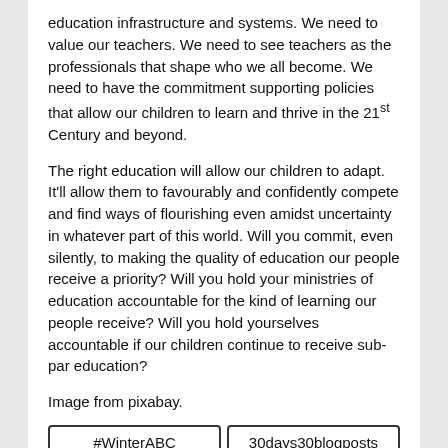education infrastructure and systems. We need to value our teachers. We need to see teachers as the professionals that shape who we all become. We need to have the commitment supporting policies that allow our children to learn and thrive in the 21st Century and beyond.
The right education will allow our children to adapt. It'll allow them to favourably and confidently compete and find ways of flourishing even amidst uncertainty in whatever part of this world. Will you commit, even silently, to making the quality of education our people receive a priority? Will you hold your ministries of education accountable for the kind of learning our people receive? Will you hold yourselves accountable if our children continue to receive sub-par education?
Image from pixabay.
#WinterABC | 30days30blogposts | Afrobloggers | Blogging Challenge